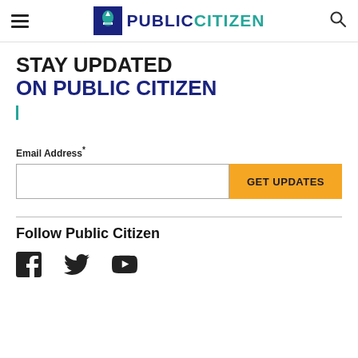PUBLIC CITIZEN
STAY UPDATED
ON PUBLIC CITIZEN
Email Address*
GET UPDATES
Follow Public Citizen
[Figure (illustration): Social media icons: Facebook, Twitter, YouTube]